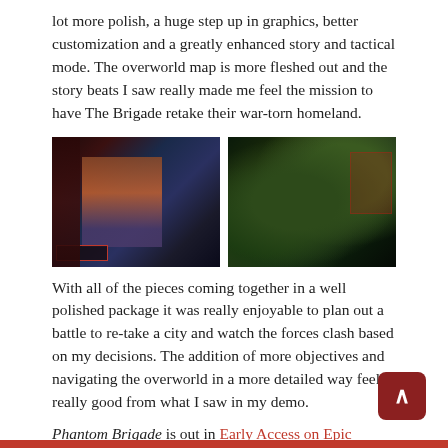lot more polish, a huge step up in graphics, better customization and a greatly enhanced story and tactical mode. The overworld map is more fleshed out and the story beats I saw really made me feel the mission to have The Brigade retake their war-torn homeland.
[Figure (photo): Two side-by-side game screenshots: left shows a mech warrior character in a dark sci-fi battle scene; right shows a tactical overworld map with terrain and UI elements.]
With all of the pieces coming together in a well polished package it was really enjoyable to plan out a battle to re-take a city and watch the forces clash based on my decisions. The addition of more objectives and navigating the overworld in a more detailed way feels really good from what I saw in my demo.
Phantom Brigade is out in Early Access on Epic Games Store right now and while there is no fixed release date for the complete version the team hopes to see it released later this year on that platform and on Steam.